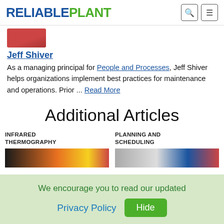RELIABLEPLANT
[Figure (photo): Partial photo of a person in red clothing, cropped at top of page]
Jeff Shiver
As a managing principal for People and Processes, Jeff Shiver helps organizations implement best practices for maintenance and operations. Prior ... Read More
Additional Articles
INFRARED THERMOGRAPHY
PLANNING AND SCHEDULING
[Figure (photo): Thumbnail image for Infrared Thermography article, dark with orange/yellow tones]
[Figure (photo): Thumbnail image for Planning and Scheduling article, grey and blue tones]
We encourage you to read our updated Privacy Policy  Hide